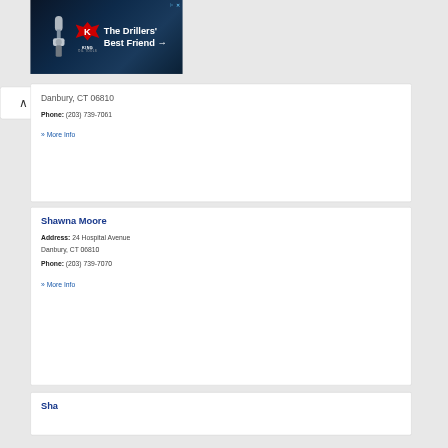[Figure (screenshot): King Oil Tools advertisement banner with drill equipment image and text 'The Drillers' Best Friend →' on dark blue background]
Danbury, CT 06810
Phone: (203) 739-7061
» More Info
Shawna Moore
Address: 24 Hospital Avenue
Danbury, CT 06810
Phone: (203) 739-7070
» More Info